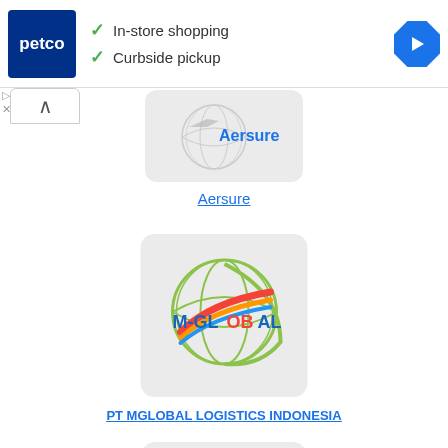[Figure (infographic): Petco advertisement banner with logo, checkmarks for 'In-store shopping' and 'Curbside pickup', and a blue navigation arrow icon on the right]
[Figure (logo): Aersure logo inside a rounded gray card with globe/airplane graphic]
Aersure
[Figure (logo): M-GLOBAL logistics logo inside a rounded gray card showing a globe with colorful swoosh ribbons]
PT MGLOBAL LOGISTICS INDONESIA
[Figure (logo): OCS ANA Group logo inside a rounded gray card]
OCS ANA Group